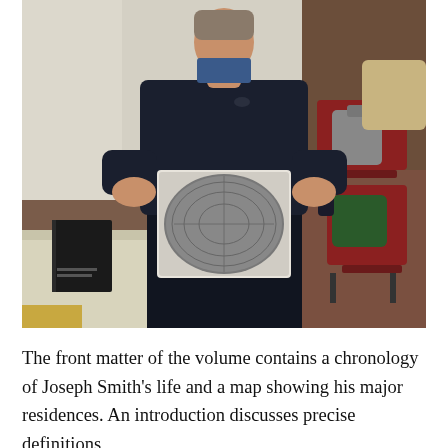[Figure (photo): A person dressed in a dark navy sweater stands indoors holding a white box containing a circular gray artifact (possibly a stone or metal plate with inscriptions). To the left is a table with a dark book on it. To the right are red chairs with bags on them. The room has brown carpet and white walls.]
The front matter of the volume contains a chronology of Joseph Smith's life and a map showing his major residences. An introduction discusses precise definitions